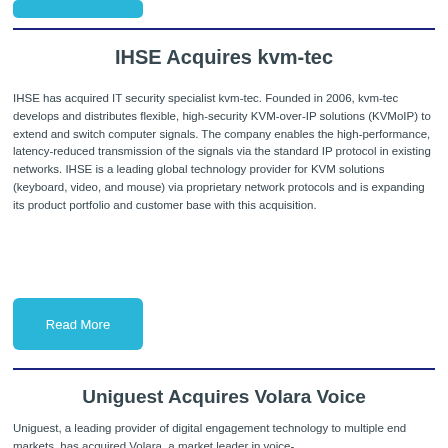[Figure (other): Cyan/blue rounded rectangle button at top left (partial, cropped)]
IHSE Acquires kvm-tec
IHSE has acquired IT security specialist kvm-tec. Founded in 2006, kvm-tec develops and distributes flexible, high-security KVM-over-IP solutions (KVMoIP) to extend and switch computer signals. The company enables the high-performance, latency-reduced transmission of the signals via the standard IP protocol in existing networks. IHSE is a leading global technology provider for KVM solutions (keyboard, video, and mouse) via proprietary network protocols and is expanding its product portfolio and customer base with this acquisition.
[Figure (other): Read More button — cyan/blue rounded rectangle with white text]
Uniguest Acquires Volara Voice
Uniguest, a leading provider of digital engagement technology to multiple end markets, has acquired Volara, a market leader in voice-